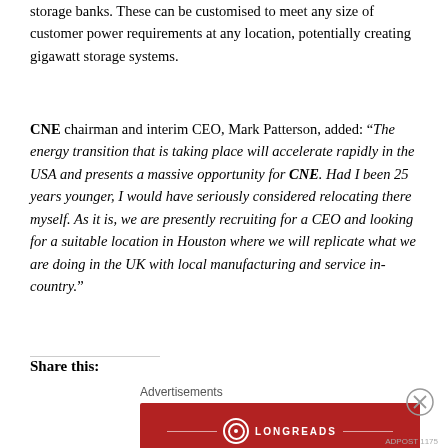storage banks. These can be customised to meet any size of customer power requirements at any location, potentially creating gigawatt storage systems.
CNE chairman and interim CEO, Mark Patterson, added: “The energy transition that is taking place will accelerate rapidly in the USA and presents a massive opportunity for CNE. Had I been 25 years younger, I would have seriously considered relocating there myself. As it is, we are presently recruiting for a CEO and looking for a suitable location in Houston where we will replicate what we are doing in the UK with local manufacturing and service in-country.”
Share this:
[Figure (other): Longreads advertisement banner: red background with Longreads logo and text 'The best stories on the web — ours, and everyone else’s.']